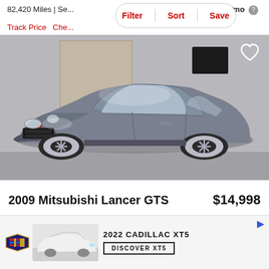82,420 Miles | Se...
est. $128/mo
Filter  Sort  Save
Track Price  Che...
[Figure (photo): Gray/blue 2009 Mitsubishi Lancer GTS sedan parked indoors against a wooden wall background, front three-quarter view]
2009 Mitsubishi Lancer GTS  $14,998
[Figure (photo): Advertisement banner for 2022 Cadillac XT5 with Cadillac logo, white Cadillac XT5 SUV image, and 'DISCOVER XT5' button]